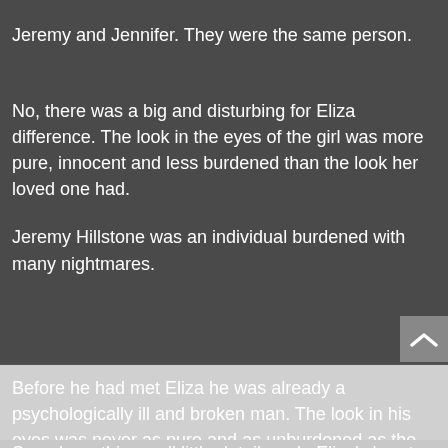Jeremy and Jennifer. They were the same person.
No, there was a big and disturbing for Eliza difference. The look in the eyes of the girl was more pure, innocent and less burdened than the look her loved one had.
Jeremy Hillstone was an individual burdened with many nightmares.
Before he had met Eliza he was already a psychologically ill and broken man. The look in his eyes was never as pure and as unburdened as the gaze in the eyes of the girl.
Somehow, this small little detail made Eliza's heart feel as if it was squeezed with a powerful hand.